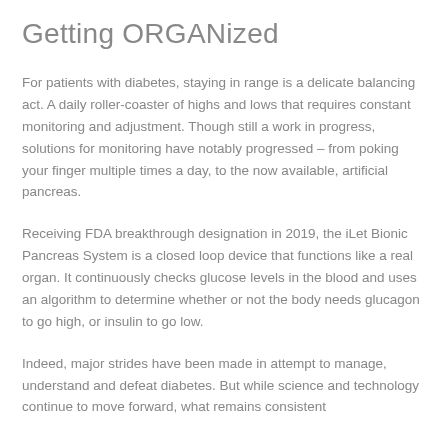Getting ORGANized
For patients with diabetes, staying in range is a delicate balancing act. A daily roller-coaster of highs and lows that requires constant monitoring and adjustment. Though still a work in progress, solutions for monitoring have notably progressed – from poking your finger multiple times a day, to the now available, artificial pancreas.
Receiving FDA breakthrough designation in 2019, the iLet Bionic Pancreas System is a closed loop device that functions like a real organ. It continuously checks glucose levels in the blood and uses an algorithm to determine whether or not the body needs glucagon to go high, or insulin to go low.
Indeed, major strides have been made in attempt to manage, understand and defeat diabetes. But while science and technology continue to move forward, what remains consistent